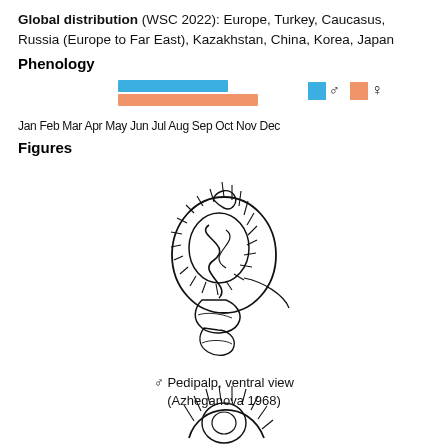Global distribution (WSC 2022): Europe, Turkey, Caucasus, Russia (Europe to Far East), Kazakhstan, China, Korea, Japan
Phenology
[Figure (bar-chart): Horizontal bar chart showing male (blue) and female (orange) activity periods across months Jan-Dec. Male bar spans approximately Mar-Jun, female bar spans approximately Mar-Jul. Legend shows blue square with male symbol and orange square with female symbol.]
Jan Feb Mar Apr May Jun Jul Aug Sep Oct Nov Dec
Figures
[Figure (illustration): Line drawing of male spider pedipalp, ventral view (Azheganova 1968). Detailed anatomical illustration showing the palpal organ with various lobes and processes.]
♂ Pedipalp, ventral view (Azheganova 1968)
[Figure (illustration): Partial line drawing of a second spider figure, cropped at bottom of page.]